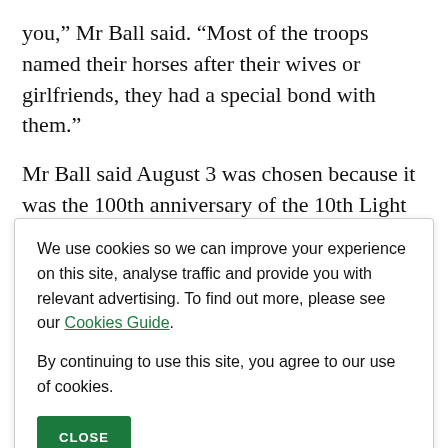you,” Mr Ball said. “Most of the troops named their horses after their wives or girlfriends, they had a special bond with them.”
Mr Ball said August 3 was chosen because it was the 100th anniversary of the 10th Light Horse Regiment returning to Australia.
We use cookies so we can improve your experience on this site, analyse traffic and provide you with relevant advertising. To find out more, please see our Cookies Guide.

By continuing to use this site, you agree to our use of cookies.
CLOSE
Get the latest news from